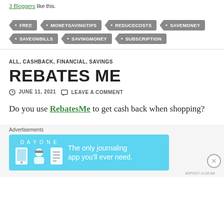Bloggers like this.
FREE
MONEYSAVINGTIPS
REDUCECOSTS
SAVEMONEY
SAVEONBILLS
SAVINGMONEY
SUBSCRIPTION
ALL, CASHBACK, FINANCIAL, SAVINGS
REBATES ME
JUNE 11, 2021   LEAVE A COMMENT
Do you use RebatesMe to get cash back when shopping?
[Figure (screenshot): Advertisement banner for Day One journaling app with light blue background and text: The only journaling app you'll ever need.]